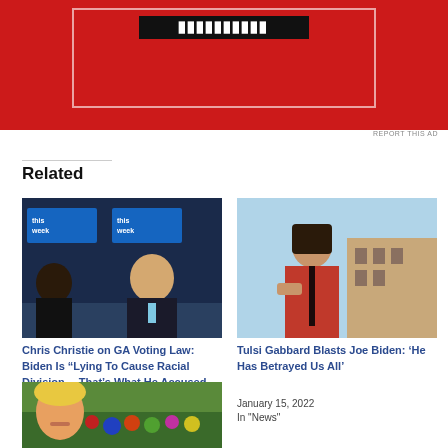[Figure (other): Red advertisement banner with dark button and white border]
REPORT THIS AD
Related
[Figure (photo): Chris Christie on a TV studio set with 'This Week' branding visible in background]
Chris Christie on GA Voting Law: Biden Is “Lying To Cause Racial Division… That’s What He Accused Trump Of Doing”
April 5, 2021
In "News"
[Figure (photo): Tulsi Gabbard speaking outdoors, wearing a red jacket, with a building visible behind her]
Tulsi Gabbard Blasts Joe Biden: ‘He Has Betrayed Us All’
January 15, 2022
In "News"
[Figure (photo): Trump at a rally with crowd visible in background]